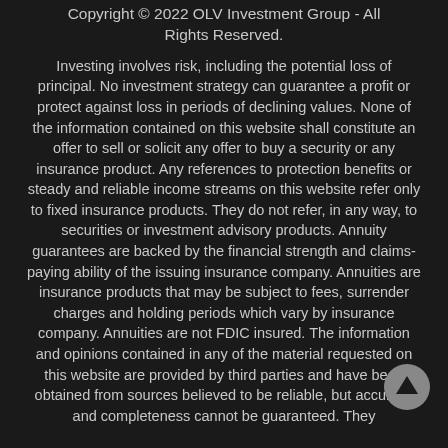Copyright © 2022 OLV Investment Group - All Rights Reserved.
Investing involves risk, including the potential loss of principal. No investment strategy can guarantee a profit or protect against loss in periods of declining values. None of the information contained on this website shall constitute an offer to sell or solicit any offer to buy a security or any insurance product. Any references to protection benefits or steady and reliable income streams on this website refer only to fixed insurance products. They do not refer, in any way, to securities or investment advisory products. Annuity guarantees are backed by the financial strength and claims-paying ability of the issuing insurance company. Annuities are insurance products that may be subject to fees, surrender charges and holding periods which vary by insurance company. Annuities are not FDIC insured. The information and opinions contained in any of the material requested on this website are provided by third parties and have been obtained from sources believed to be reliable, but accuracy and completeness cannot be guaranteed. They